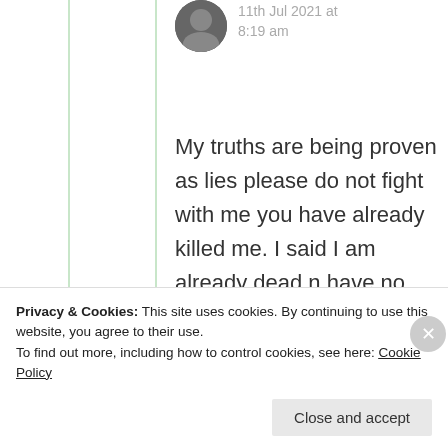11th Jul 2021 at 8:19 am
My truths are being proven as lies please do not fight with me you have already killed me. I said I am already dead n have no patience to fight. Kindly leave me 🙏
★ Like
Privacy & Cookies: This site uses cookies. By continuing to use this website, you agree to their use.
To find out more, including how to control cookies, see here: Cookie Policy
Close and accept